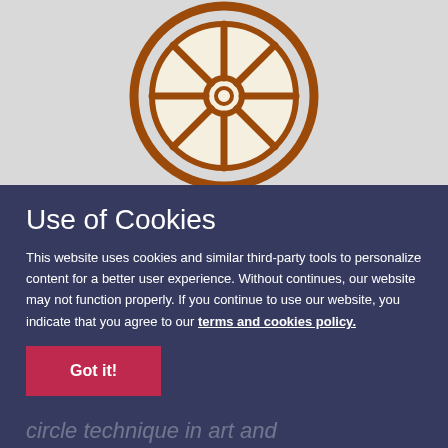[Figure (illustration): A wagon wheel / cart wheel icon drawn in brown (#9b4a0a) on a light gray background. Two concentric circles form the rim and outer ring, with 8 spokes radiating from a central hub circle.]
Use of Cookies
This website uses cookies and similar third-party tools to personalize content for a better user experience. Without continues, our website may not function properly. If you continue to use our website, you indicate that you agree to our terms and cookies policy.
Got it!